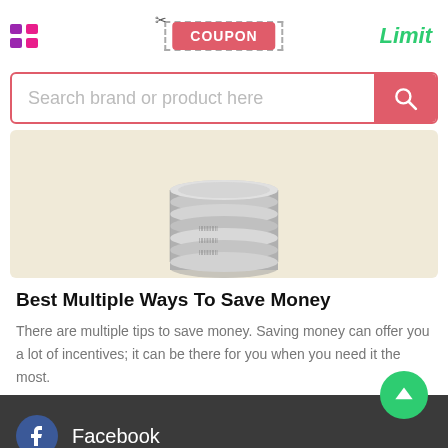[Figure (screenshot): App header with menu icon, coupon button with scissors, and Limit text]
[Figure (screenshot): Search bar with placeholder 'Search brand or product here' and red search button]
[Figure (photo): Stack of coins on a light beige background]
Best Multiple Ways To Save Money
There are multiple tips to save money. Saving money can offer you a lot of incentives; it can be there for you when you need it the most.
[Figure (screenshot): Dark footer with Facebook icon and label, and green scroll-to-top button]